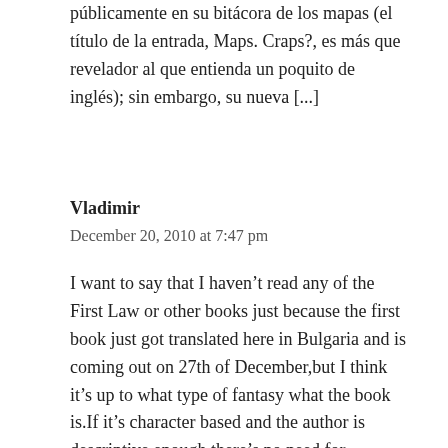públicamente en su bitácora de los mapas (el título de la entrada, Maps. Craps?, es más que revelador al que entienda un poquito de inglés); sin embargo, su nueva [...]
Vladimir
December 20, 2010 at 7:47 pm
I want to say that I haven't read any of the First Law or other books just because the first book just got translated here in Bulgaria and is coming out on 27th of December,but I think it's up to what type of fantasy what the book is.If it's character based and the author is descriptive enough there's no need for maps(detailed or not).But then there's the case with multibook sagas like Andrzej Sapkowski's The Witcher series which I finished last week,where the